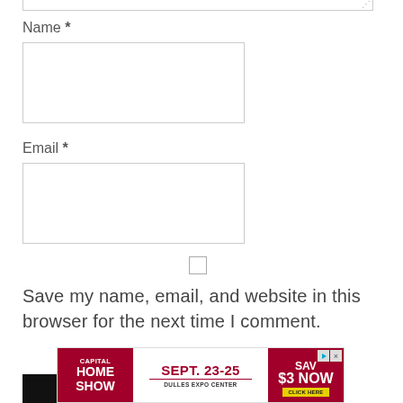Name *
[Figure (screenshot): Empty Name input text field with border]
Email *
[Figure (screenshot): Empty Email input text field with border]
[Figure (screenshot): Unchecked checkbox]
Save my name, email, and website in this browser for the next time I comment.
[Figure (screenshot): POST COMMENT black button]
[Figure (screenshot): Capital Home Show advertisement banner - SEPT. 23-25 DULLES EXPO CENTER SAVE $3 NOW CLICK HERE]